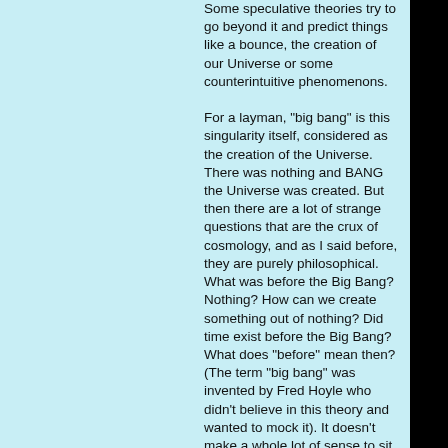Some speculative theories try to go beyond it and predict things like a bounce, the creation of our Universe or some counterintuitive phenomenons. For a layman, "big bang" is this singularity itself, considered as the creation of the Universe. There was nothing and BANG the Universe was created. But then there are a lot of strange questions that are the crux of cosmology, and as I said before, they are purely philosophical. What was before the Big Bang? Nothing? How can we create something out of nothing? Did time exist before the Big Bang? What does "before" mean then? (The term "big bang" was invented by Fred Hoyle who didn't believe in this theory and wanted to mock it). It doesn't make a whole lot of sense to sit here and argue about these questions because we don't have any evidence one way or the other. You can change many details and go much deeper